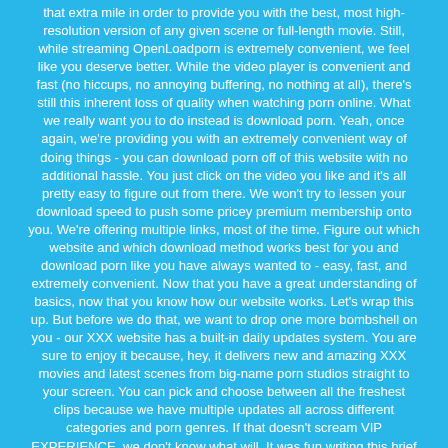that extra mile in order to provide you with the best, most high-resolution version of any given scene or full-length movie. Still, while streaming OpenLoadporn is extremely convenient, we feel like you deserve better. While the video player is convenient and fast (no hiccups, no annoying buffering, no nothing at all), there's still this inherent loss of quality when watching porn online. What we really want you to do instead is download porn. Yeah, once again, we're providing you with an extremely convenient way of doing things - you can download porn off of this website with no additional hassle. You just click on the video you like and it's all pretty easy to figure out from there. We won't try to lessen your download speed to push some pricey premium membership onto you. We're offering multiple links, most of the time. Figure out which website and which download method works best for you and download porn like you have always wanted to - easy, fast, and extremely convenient. Now that you have a great understanding of basics, now that you know how our website works. Let's wrap this up. But before we do that, we want to drop one more bombshell on you - our XXX website has a built-in daily updates system. You are sure to enjoy it because, hey, it delivers new and amazing XXX movies and latest scenes from big-name porn studios straight to your screen. You can pick and choose between all the freshest clips because we have multiple updates all across different categories and porn genres. If that doesn't scream VIP EXPERIENCE, we don't know what will. It was fun writing this brief introductory message, hopefully, it was fun for you to read it as well. We hope that you will enjoy your stay on our premium website, brimming with thousands of free porn movies, all free to download or stream in high definition. We really want you to bookmark this page to never miss one of our sexy-ass updates. Remember, they are ALWAYS just around the corner